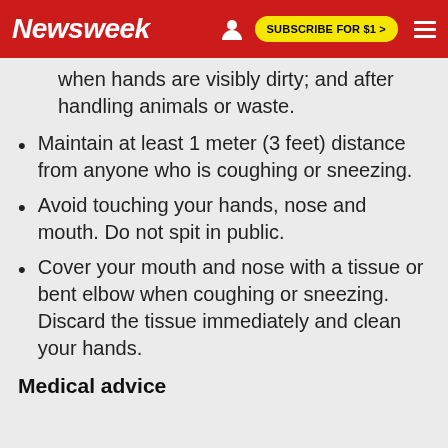Newsweek | SUBSCRIBE FOR $1 >
when hands are visibly dirty; and after handling animals or waste.
Maintain at least 1 meter (3 feet) distance from anyone who is coughing or sneezing.
Avoid touching your hands, nose and mouth. Do not spit in public.
Cover your mouth and nose with a tissue or bent elbow when coughing or sneezing. Discard the tissue immediately and clean your hands.
Medical advice